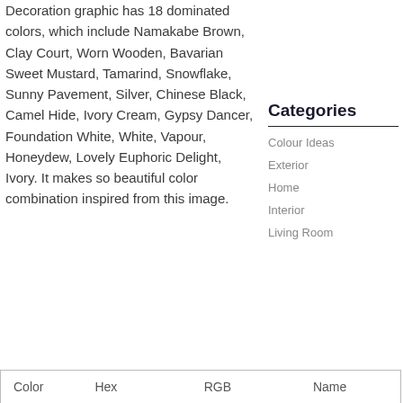Decoration graphic has 18 dominated colors, which include Namakabe Brown, Clay Court, Worn Wooden, Bavarian Sweet Mustard, Tamarind, Snowflake, Sunny Pavement, Silver, Chinese Black, Camel Hide, Ivory Cream, Gypsy Dancer, Foundation White, White, Vapour, Honeydew, Lovely Euphoric Delight, Ivory. It makes so beautiful color combination inspired from this image.
Categories
Colour Ideas
Exterior
Home
Interior
Living Room
| Color | Hex | RGB | Name |
| --- | --- | --- | --- |